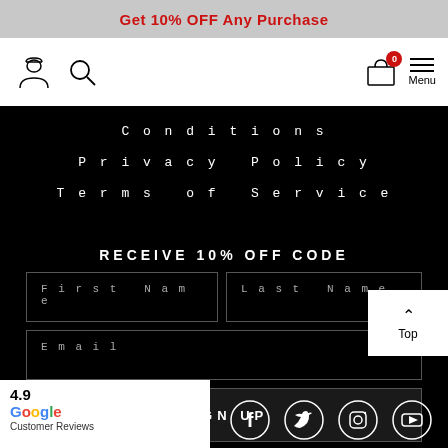Get 10% OFF Any Purchase
[Figure (screenshot): Navigation bar with user icon, search icon, cart with badge 0, and Menu hamburger button]
Conditions
Privacy Policy
Terms of Service
RECEIVE 10% OFF CODE
First Name | Last Name | Email input fields and SIGN UP button
[Figure (logo): Google Customer Reviews badge showing 4.9 rating]
[Figure (infographic): Social media icons: Facebook, Twitter, Instagram, YouTube]